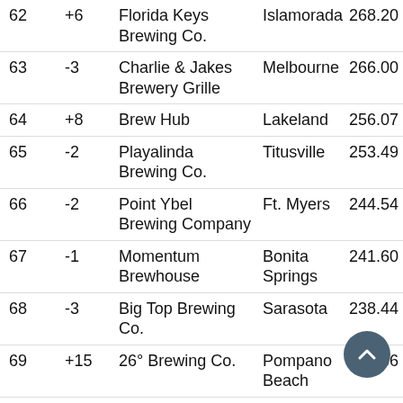| Rank | Change | Name | City | Score |
| --- | --- | --- | --- | --- |
| 62 | +6 | Florida Keys Brewing Co. | Islamorada | 268.20 |
| 63 | -3 | Charlie & Jakes Brewery Grille | Melbourne | 266.00 |
| 64 | +8 | Brew Hub | Lakeland | 256.07 |
| 65 | -2 | Playalinda Brewing Co. | Titusville | 253.49 |
| 66 | -2 | Point Ybel Brewing Company | Ft. Myers | 244.54 |
| 67 | -1 | Momentum Brewhouse | Bonita Springs | 241.60 |
| 68 | -3 | Big Top Brewing Co. | Sarasota | 238.44 |
| 69 | +15 | 26° Brewing Co. | Pompano Beach | 235.66 |
| 70 | -3 | Sailfish Brewing Co. | Vero Beach | 235.10 |
| 71 | +3 | Lakeland Brewing Co. | Lakeland | 226.85 |